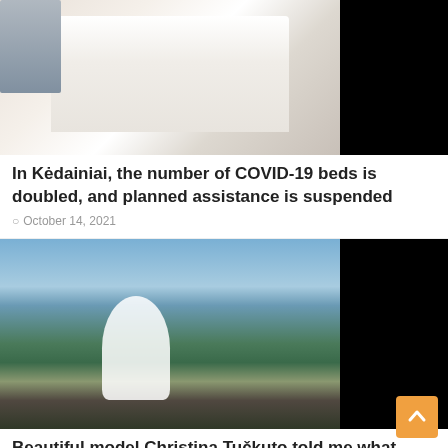[Figure (photo): Hospital room with a white bed and medical equipment, partially obscured by black area on the right]
In Kėdainiai, the number of COVID-19 beds is doubled, and planned assistance is suspended
October 14, 2021
[Figure (photo): Person in white robe meditating on lounge chairs by a pool with ocean and green hills in background, partially obscured by black area on the right]
Beautiful model Christina Tučkuto told me what beauty rituals she can't reach every day: it's a part of my daily life
October 13, 2021